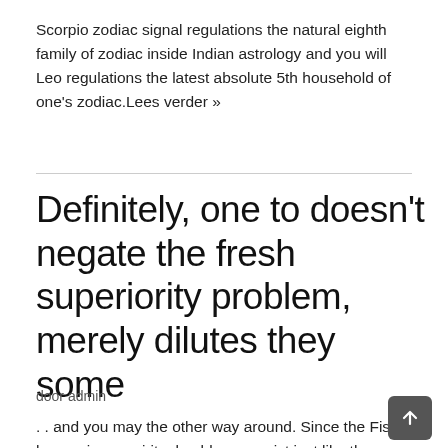Scorpio zodiac signal regulations the natural eighth family of zodiac inside Indian astrology and you will Leo regulations the latest absolute 5th household of one's zodiac.Lees verder »
Definitely, one to doesn't negate the fresh superiority problem, merely dilutes they some
door admin
. . and you may the other way around. Since the Fish has an inner spiritual noblesse assist just like the new dignified outer nobility of Leo's identification, they